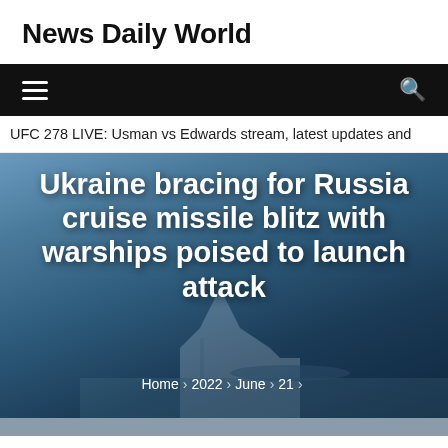News Daily World
UFC 278 LIVE: Usman vs Edwards stream, latest updates and
Ukraine bracing for Russia cruise missile blitz with warships poised to launch attack
Home > 2022 > June > 21 >